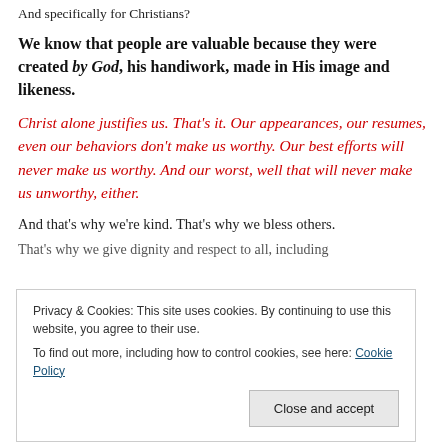And specifically for Christians?
We know that people are valuable because they were created by God, his handiwork, made in His image and likeness.
Christ alone justifies us. That's it. Our appearances, our resumes, even our behaviors don't make us worthy. Our best efforts will never make us worthy. And our worst, well that will never make us unworthy, either.
And that's why we're kind. That's why we bless others.
That's why we give dignity and respect to all, including
Privacy & Cookies: This site uses cookies. By continuing to use this website, you agree to their use.
To find out more, including how to control cookies, see here: Cookie Policy
Close and accept